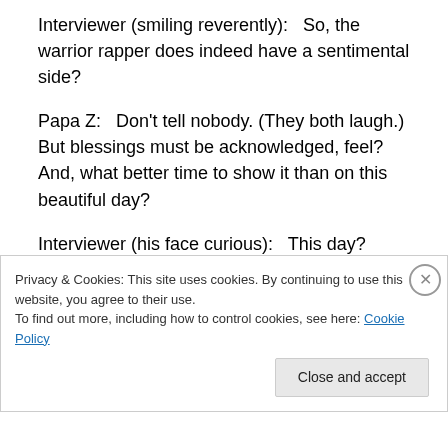Interviewer (smiling reverently):   So, the warrior rapper does indeed have a sentimental side?
Papa Z:   Don't tell nobody. (They both laugh.) But blessings must be acknowledged, feel? And, what better time to show it than on this beautiful day?
Interviewer (his face curious):   This day?
Papa Z (a gleam in his eye and grin forming):   It's Pamper-Her-Friday.
exit interview
Privacy & Cookies: This site uses cookies. By continuing to use this website, you agree to their use.
To find out more, including how to control cookies, see here: Cookie Policy